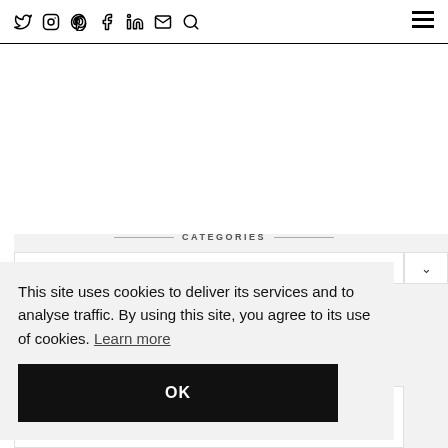Social media icons (Twitter, Instagram, Pinterest, Facebook, LinkedIn, Email, Search) and hamburger menu
CATEGORIES
This site uses cookies to deliver its services and to analyse traffic. By using this site, you agree to its use of cookies. Learn more
OK